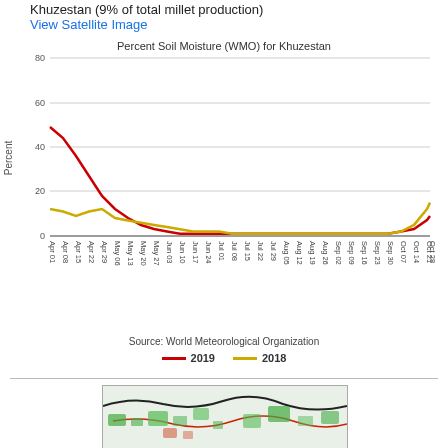Khuzestan (9% of total millet production)
View Satellite Image
[Figure (line-chart): Percent Soil Moisture (WMO) for Khuzestan]
Source: World Meteorological Organization
[Figure (map): Satellite/map image of Khuzestan region showing vegetation patterns in green and red on light background]